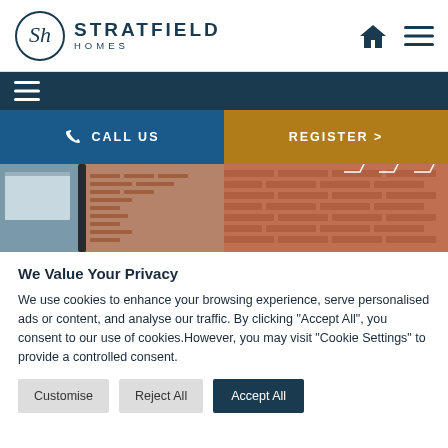[Figure (logo): Stratfield Homes logo with circular SH monogram and brand name]
[Figure (infographic): Dark navy navigation bar with white hamburger menu icon]
CALL US
REGISTER >
[Figure (photo): Two brick residential house facade photos side by side]
We Value Your Privacy
We use cookies to enhance your browsing experience, serve personalised ads or content, and analyse our traffic. By clicking "Accept All", you consent to our use of cookies.However, you may visit "Cookie Settings" to provide a controlled consent.
Customise
Reject All
Accept All